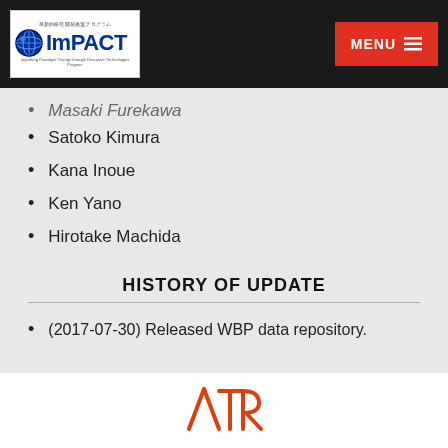[Figure (logo): ImPACT program logo with globe icon and Japanese text header, on dark navigation bar with red MENU button]
Masaki Furekawa (partial, clipped)
Satoko Kimura
Kana Inoue
Ken Yano
Hirotake Machida
HISTORY OF UPDATE
(2017-07-30) Released WBP data repository.
[Figure (logo): ATR logo in orange/red color at the bottom of the page]